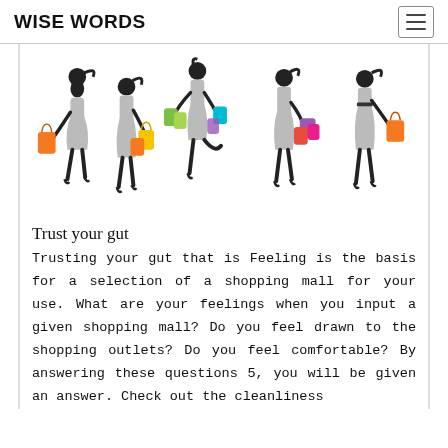WISE WORDS
[Figure (illustration): Silhouettes of five stylish women walking and carrying colorful shopping bags]
Trust your gut
Trusting your gut that is Feeling is the basis for a selection of a shopping mall for your use. What are your feelings when you input a given shopping mall? Do you feel drawn to the shopping outlets? Do you feel comfortable? By answering these questions 5, you will be given an answer. Check out the cleanliness